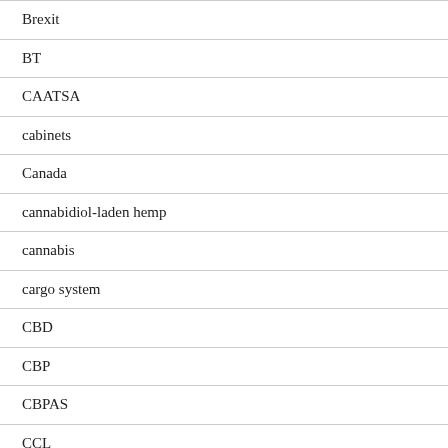Brexit
BT
CAATSA
cabinets
Canada
cannabidiol-laden hemp
cannabis
cargo system
CBD
CBP
CBPAS
CCL
CDC
Central African Republic
Certificate of Origin